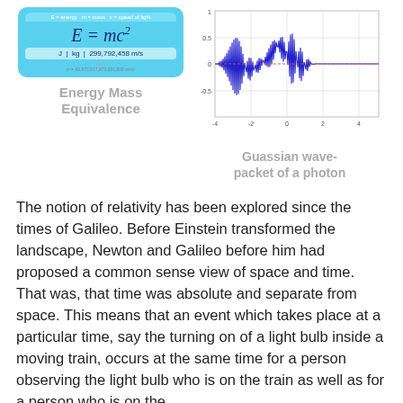[Figure (illustration): E=mc² formula diagram with blue box showing formula, units J | kg | 299,792,458 m/s, and small text c² = 89,875,517,873,681,800 m²/s²]
Energy Mass Equivalence
[Figure (continuous-plot): Gaussian wave-packet plot showing oscillating wave envelope, x-axis from -4 to 4, y-axis from about -0.6 to 1]
Guassian wave-packet of a photon
The notion of relativity has been explored since the times of Galileo. Before Einstein transformed the landscape, Newton and Galileo before him had proposed a common sense view of space and time. That was, that time was absolute and separate from space. This means that an event which takes place at a particular time, say the turning on of a light bulb inside a moving train, occurs at the same time for a person observing the light bulb who is on the train as well as for a person who is on the